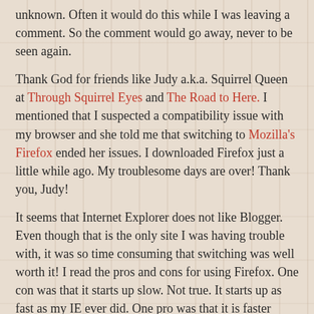unknown. Often it would do this while I was leaving a comment. So the comment would go away, never to be seen again.
Thank God for friends like Judy a.k.a. Squirrel Queen at Through Squirrel Eyes and The Road to Here. I mentioned that I suspected a compatibility issue with my browser and she told me that switching to Mozilla's Firefox ended her issues. I downloaded Firefox just a little while ago. My troublesome days are over! Thank you, Judy!
It seems that Internet Explorer does not like Blogger. Even though that is the only site I was having trouble with, it was so time consuming that switching was well worth it! I read the pros and cons for using Firefox. One con was that it starts up slow. Not true. It starts up as fast as my IE ever did. One pro was that it is faster loading. I believe it. It may just be my positive outlook, but I think it's faster than IE.
I thought I'd share this with you. Many of you have talked about problems you're having with your PCs. Try Firefox and see if that clears them up for you. I've only been using it for